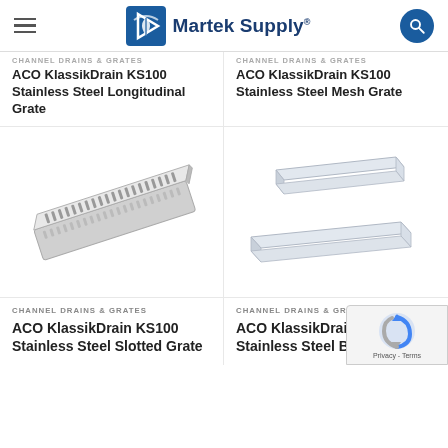Martek Supply
CHANNEL DRAINS & GRATES
ACO KlassikDrain KS100 Stainless Steel Longitudinal Grate
CHANNEL DRAINS & GRATES
ACO KlassikDrain KS100 Stainless Steel Mesh Grate
[Figure (photo): ACO KlassikDrain KS100 Stainless Steel Slotted Grate — elongated rectangular stainless steel slotted drain grate, angled view]
[Figure (photo): ACO KlassikDrain KS100 Stainless Steel Brickslot Grate — two stainless steel channel components shown, one on top of the other, angled view]
CHANNEL DRAINS & GRATES
ACO KlassikDrain KS100 Stainless Steel Slotted Grate
CHANNEL DRAINS & GRATES
ACO KlassikDrain KS100 Stainless Steel Brickslot...